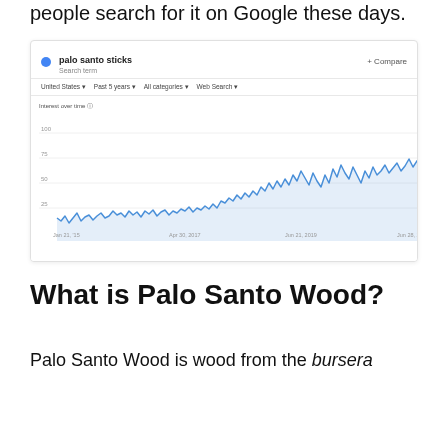people search for it on Google these days.
[Figure (screenshot): Google Trends screenshot showing interest over time for 'palo santo sticks' search term from approximately 2015 to 2020, with an upward trending line chart in blue showing increasing popularity over time.]
What is Palo Santo Wood?
Palo Santo Wood is wood from the bursera